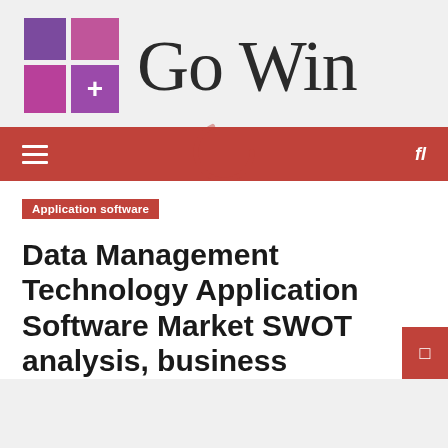[Figure (logo): Go Win logo with a 2x2 grid icon in purple/magenta tones and a plus sign, followed by the text 'Go Win' in serif font]
≡  fl
Application software
Data Management Technology Application Software Market SWOT analysis, business